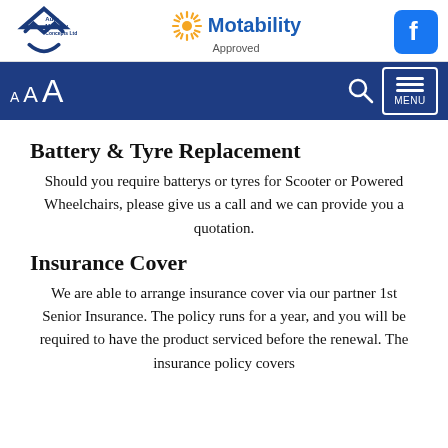[Figure (logo): Auto Mobility Concepts Ltd logo with stylized AM initials, Motability Approved logo with sunburst icon, and Facebook icon]
A A A [font size controls] [search icon] MENU
Battery  & Tyre Replacement
Should you require batterys or tyres for Scooter or Powered Wheelchairs, please give us a call and we can provide you a quotation.
Insurance Cover
We are able to arrange insurance cover via our partner 1st Senior Insurance.  The policy runs for a year, and you will be required to have the product serviced before the renewal.  The insurance policy covers